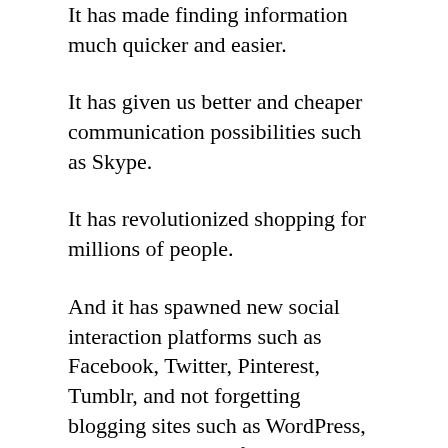It has made finding information much quicker and easier.
It has given us better and cheaper communication possibilities such as Skype.
It has revolutionized shopping for millions of people.
And it has spawned new social interaction platforms such as Facebook, Twitter, Pinterest, Tumblr, and not forgetting blogging sites such as WordPress, allowing people to find groups and individuals all over the world with similar interests to their own.
But perhaps the greatest thing that the internet has achieved is to give freedom for